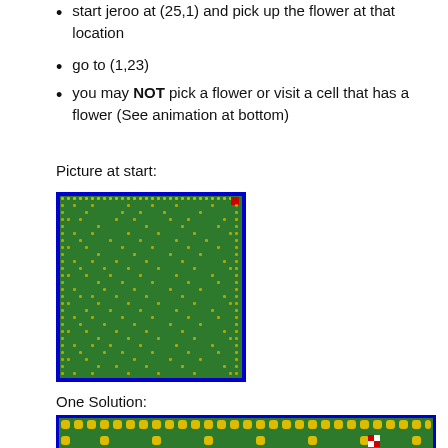start jeroo at (25,1) and pick up the flower at that location
go to (1,23)
you may NOT pick a flower or visit a cell that has a flower (See animation at bottom)
Picture at start:
[Figure (screenshot): Grid showing a maze-like pattern of yellow flowers on a green background with a blue border. A small red marker is visible near the top-right corner.]
One Solution:
[Figure (screenshot): Wider grid showing a solution path with yellow flowers and a red/white checkered marker near the right side, blue border.]